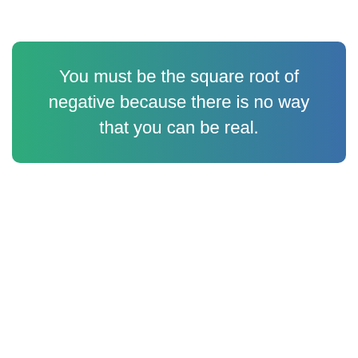You must be the square root of negative because there is no way that you can be real.